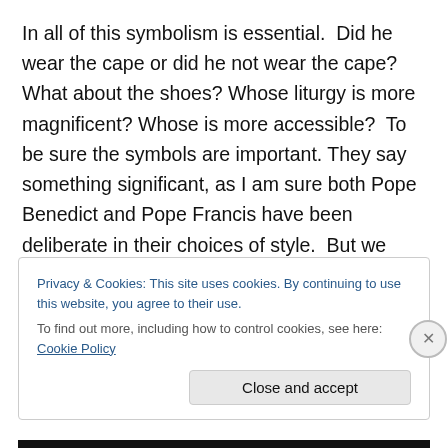In all of this symbolism is essential.  Did he wear the cape or did he not wear the cape?  What about the shoes? Whose liturgy is more magnificent? Whose is more accessible?  To be sure the symbols are important. They say something significant, as I am sure both Pope Benedict and Pope Francis have been deliberate in their choices of style.  But we should not let the extremists define the terms of the conversation and dazzle us with sophistries about contradictions where only contraries exist.
Privacy & Cookies: This site uses cookies. By continuing to use this website, you agree to their use.
To find out more, including how to control cookies, see here: Cookie Policy